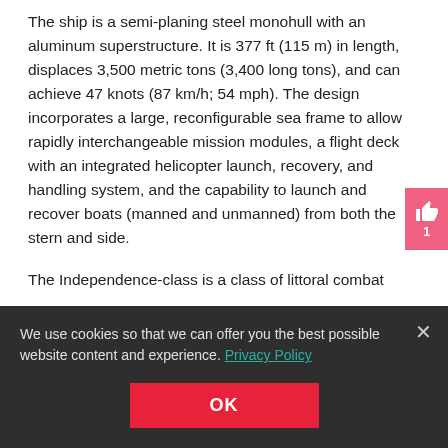The ship is a semi-planing steel monohull with an aluminum superstructure. It is 377 ft (115 m) in length, displaces 3,500 metric tons (3,400 long tons), and can achieve 47 knots (87 km/h; 54 mph). The design incorporates a large, reconfigurable sea frame to allow rapidly interchangeable mission modules, a flight deck with an integrated helicopter launch, recovery, and handling system, and the capability to launch and recover boats (manned and unmanned) from both the stern and side.
The Independence-class is a class of littoral combat
We use cookies so that we can offer you the best possible website content and experience. Privacy Policy
OK